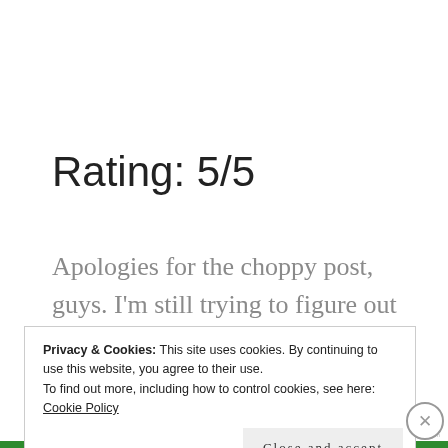Rating: 5/5
Apologies for the choppy post, guys. I'm still trying to figure out how to go about writing book reviews. This time, I took notes while reading the book and then
Privacy & Cookies: This site uses cookies. By continuing to use this website, you agree to their use.
To find out more, including how to control cookies, see here:
Cookie Policy
Close and accept